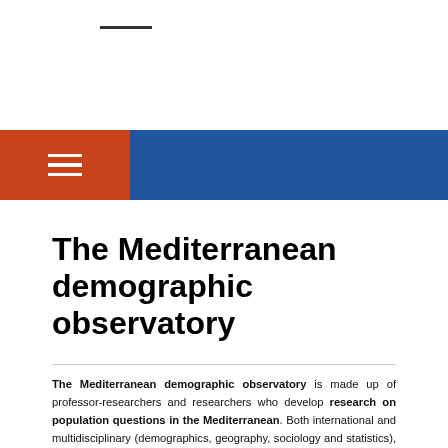— (decorative line)
The Mediterranean demographic observatory
The Mediterranean demographic observatory is made up of professor-researchers and researchers who develop research on population questions in the Mediterranean. Both international and multidisciplinary (demographics, geography, sociology and statistics), the team seeks to integrate both spatial and temporal dimensions into demographic analyses. This approach offers a new interpretation of demographic indicators by revealing the various spatial organisations of social phenomena.
Since 2010, the observatory has operated as a specific program for the Mediterranean Social Science Center (MMSH) in Aix-en-Provence, in